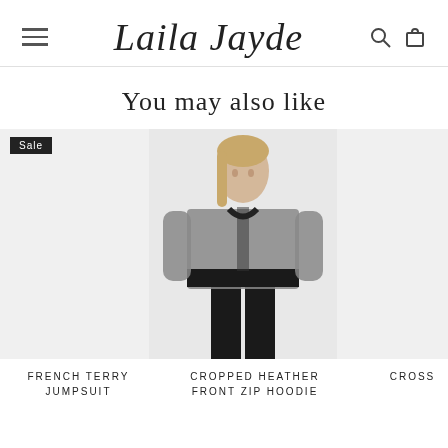Laila Jayde
You may also like
[Figure (photo): Product card for FRENCH TERRY JUMPSUIT with Sale badge, product image area appears empty/white]
[Figure (photo): Product card for CROPPED HEATHER FRONT ZIP HOODIE showing a woman wearing a grey cropped zip hoodie with black trim and black leggings]
[Figure (photo): Partially visible third product card labeled CROSS (truncated)]
FRENCH TERRY JUMPSUIT
CROPPED HEATHER FRONT ZIP HOODIE
CROSS